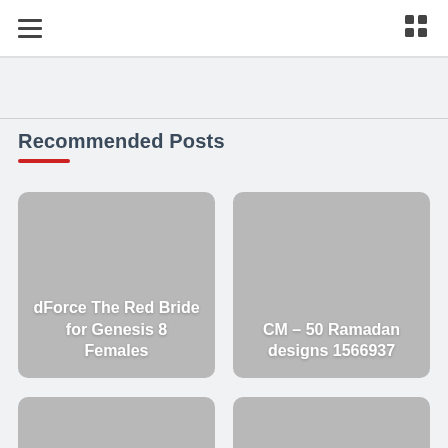Navigation bar with hamburger menu and grid icon
Recommended Posts
[Figure (illustration): Card with gray background showing text: dForce The Red Bride for Genesis 8 Females]
[Figure (illustration): Card with gray background showing text: CM – 50 Ramadan designs 1566937]
[Figure (illustration): Partial gray card at bottom left]
[Figure (illustration): Partial gray card at bottom right]